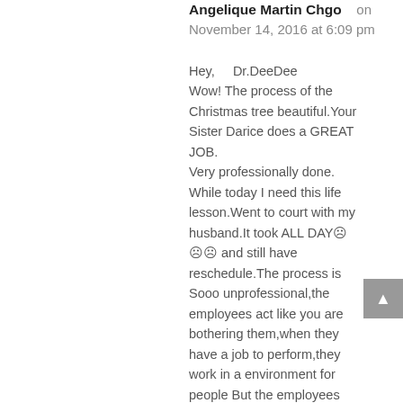Angelique Martin Chgo on November 14, 2016 at 6:09 pm
Hey,    Dr.DeeDee
Wow! The process of the Christmas tree beautiful.Your Sister Darice does a GREAT JOB.
Very professionally done. While today I need this life lesson.Went to court with my husband.It took ALL DAY☹☹☹ and still have reschedule.The process is Sooo unprofessional,the employees act like you are bothering them,when they have a job to perform,they work in a environment for people But the employees are not people friendly. Well I will put my complain in my box,tape it up and remain FOCUS.
Thanks for life lesson
Until next time